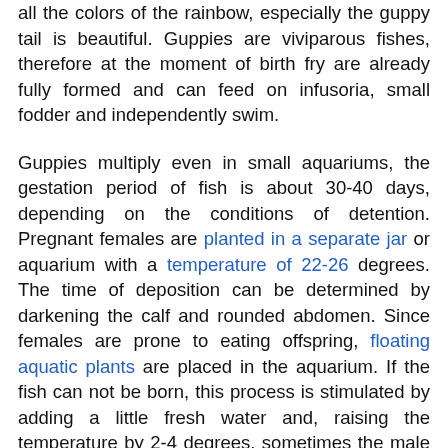all the colors of the rainbow, especially the guppy tail is beautiful. Guppies are viviparous fishes, therefore at the moment of birth fry are already fully formed and can feed on infusoria, small fodder and independently swim.
Guppies multiply even in small aquariums, the gestation period of fish is about 30-40 days, depending on the conditions of detention. Pregnant females are planted in a separate jar or aquarium with a temperature of 22-26 degrees. The time of deposition can be determined by darkening the calf and rounded abdomen. Since females are prone to eating offspring, floating aquatic plants are placed in the aquarium. If the fish can not be born, this process is stimulated by adding a little fresh water and, raising the temperature by 2-4 degrees, sometimes the male is attached.
Nature and Habit